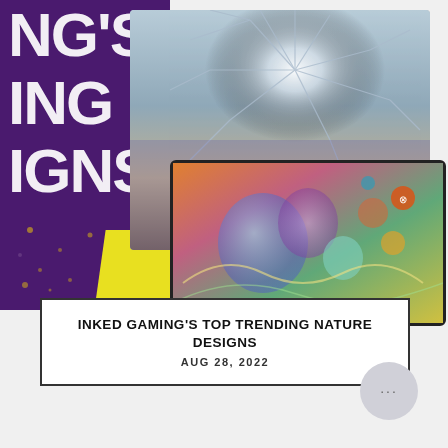[Figure (photo): Composite image showing gaming accessories with a dark purple background featuring large white text 'NG'S / ING / IGNS', overlaid with a cracked-glass effect photo on top and a colorful artistic design on a tablet/mat below, plus a yellow accent shape]
INKED GAMING'S TOP TRENDING NATURE DESIGNS
AUG 28, 2022